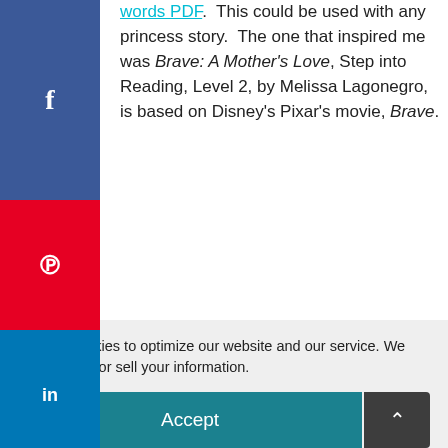words PDF.  This could be used with any princess story.  The one that inspired me was Brave: A Mother's Love, Step into Reading, Level 2, by Melissa Lagonegro, is based on Disney's Pixar's movie, Brave.
[Figure (screenshot): Social share buttons sidebar: Facebook (blue), Pinterest (red), LinkedIn (blue), Email (green), WhatsApp (green)]
[Figure (illustration): Book cover for 'The Breadwinner' showing animated character with dark hair and turquoise eyes, desert background, Arabic text]
We use cookies to optimize our website and our service. We never share or sell your information.
Accept